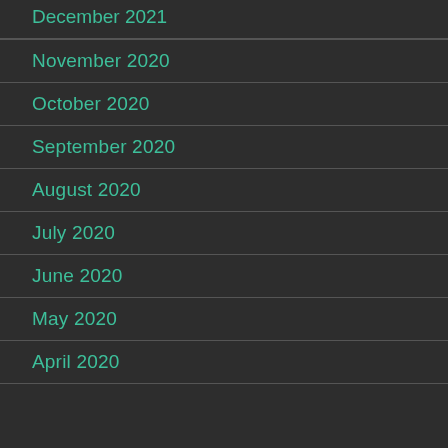December 2021
November 2020
October 2020
September 2020
August 2020
July 2020
June 2020
May 2020
April 2020